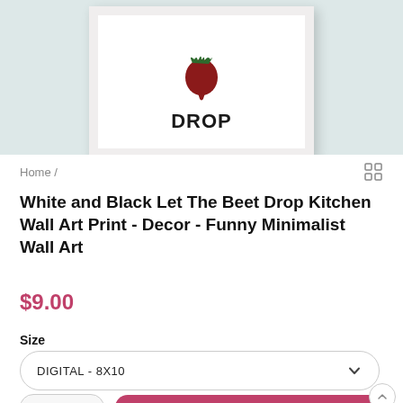[Figure (photo): Product image showing a framed 'Let The Beet Drop' wall art print with a beet illustration, displayed against a light teal background]
Home /
White and Black Let The Beet Drop Kitchen Wall Art Print - Decor - Funny Minimalist Wall Art
$9.00
Size
DIGITAL - 8X10
ADD TO CART